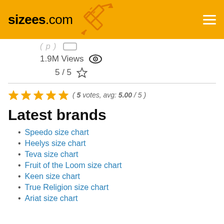sizees.com
1.9M Views
5 / 5
( 5 votes, avg: 5.00 / 5 )
Latest brands
Speedo size chart
Heelys size chart
Teva size chart
Fruit of the Loom size chart
Keen size chart
True Religion size chart
Ariat size chart